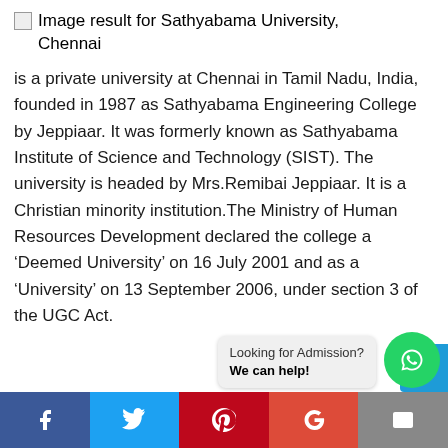[Figure (illustration): Broken image placeholder with alt text 'Image result for Sathyabama University, Chennai']
is a private university at Chennai in Tamil Nadu, India, founded in 1987 as Sathyabama Engineering College by Jeppiaar. It was formerly known as Sathyabama Institute of Science and Technology (SIST). The university is headed by Mrs.Remibai Jeppiaar. It is a Christian minority institution.The Ministry of Human Resources Development declared the college a ‘Deemed University’ on 16 July 2001 and as a ‘University’ on 13 September 2006, under section 3 of the UGC Act.
[Figure (screenshot): WhatsApp chat button with admission bubble: 'Looking for Admission? We can help!']